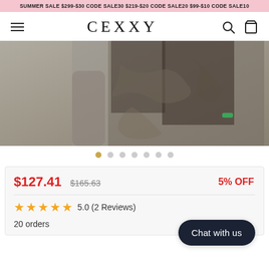SUMMER SALE $299-$30 CODE SALE30 $219-$20 CODE SALE20 $99-$10 CODE SALE10
CEXXY
[Figure (photo): Product photo of a person wearing a metallic/camo patterned outfit, cropped showing torso and arms]
$127.41  $165.63  5% OFF
5.0 (2 Reviews)
20 orders